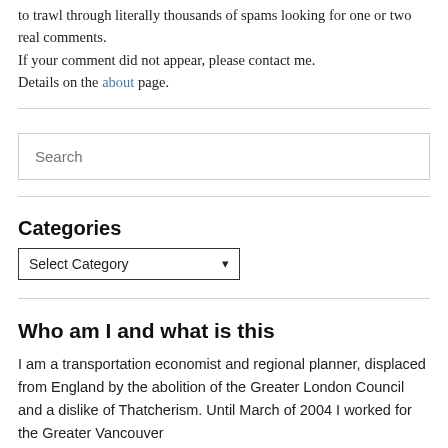to trawl through literally thousands of spams looking for one or two real comments.
If your comment did not appear, please contact me.
Details on the about page.
Search
Categories
Select Category
Who am I and what is this
I am a transportation economist and regional planner, displaced from England by the abolition of the Greater London Council and a dislike of Thatcherism. Until March of 2004 I worked for the Greater Vancouver